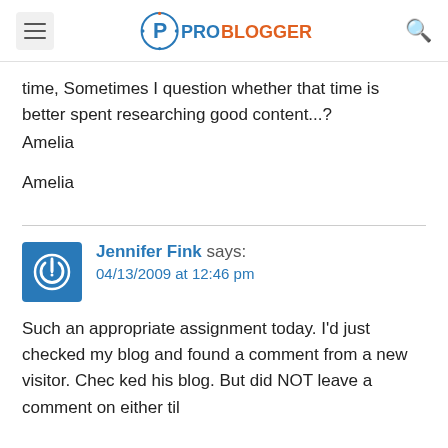ProBlogger
time, Sometimes I question whether that time is better spent researching good content...?
Amelia
Amelia
Jennifer Fink says:
04/13/2009 at 12:46 pm
Such an appropriate assignment today. I'd just checked my blog and found a comment from a new visitor. Checked his blog. But did NOT leave a comment on either til